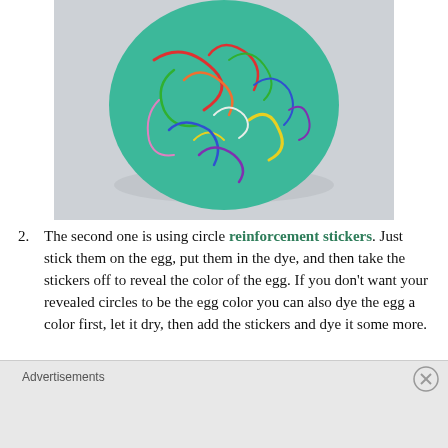[Figure (photo): A teal/turquoise Easter egg with colorful crayon squiggle lines covering its surface, sitting on a white background.]
2. The second one is using circle reinforcement stickers. Just stick them on the egg, put them in the dye, and then take the stickers off to reveal the color of the egg. If you don't want your revealed circles to be the egg color you can also dye the egg a color first, let it dry, then add the stickers and dye it some more.
Advertisements